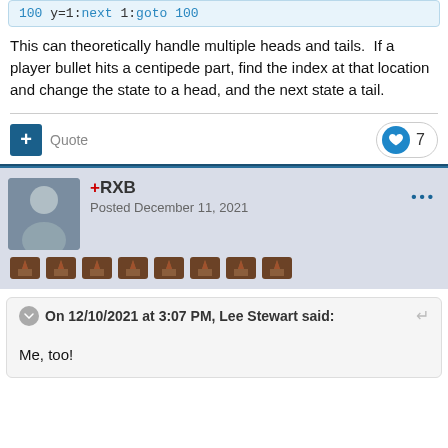[Figure (screenshot): Code snippet showing BASIC-like code: '100 y=1:next 1:goto 100' with syntax highlighting in blue and red]
This can theoretically handle multiple heads and tails. If a player bullet hits a centipede part, find the index at that location and change the state to a head, and the next state a tail.
+ Quote  ♥ 7
+RXB
Posted December 11, 2021
On 12/10/2021 at 3:07 PM, Lee Stewart said:

Me, too!